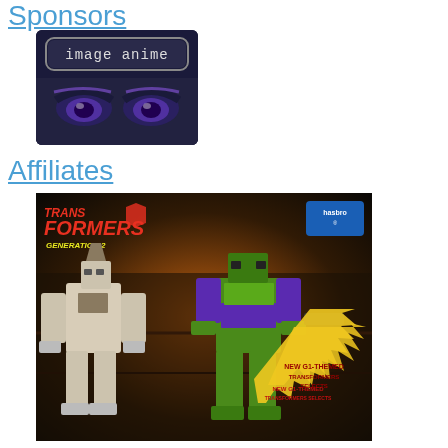Sponsors
[Figure (logo): Image Anime logo with anime eyes illustration on dark blue/purple background]
Affiliates
[Figure (photo): Transformers Generation 2 Hasbro product image showing two robot figures (Devastator/Megatron in green/purple and a white/beige robot) with text 'New G1-Themed Transformers Selects']